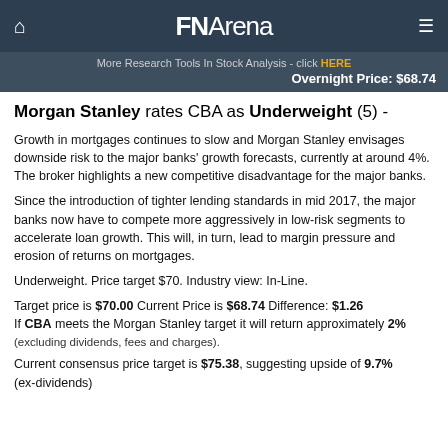FNArena
More Research Tools In Stock Analysis - click HERE
Overnight Price: $68.74
Morgan Stanley rates CBA as Underweight (5) -
Growth in mortgages continues to slow and Morgan Stanley envisages downside risk to the major banks' growth forecasts, currently at around 4%. The broker highlights a new competitive disadvantage for the major banks.
Since the introduction of tighter lending standards in mid 2017, the major banks now have to compete more aggressively in low-risk segments to accelerate loan growth. This will, in turn, lead to margin pressure and erosion of returns on mortgages.
Underweight. Price target $70. Industry view: In-Line.
Target price is $70.00 Current Price is $68.74 Difference: $1.26
If CBA meets the Morgan Stanley target it will return approximately 2%
(excluding dividends, fees and charges).
Current consensus price target is $75.38, suggesting upside of 9.7%
(ex-dividends)